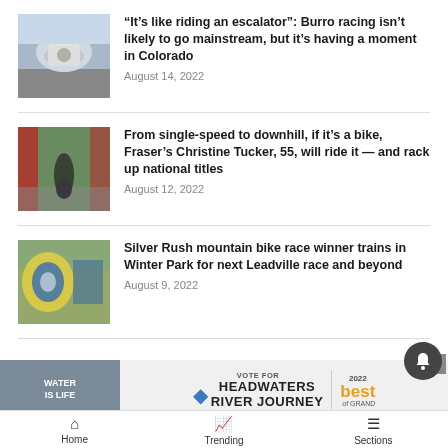[Figure (screenshot): News article listing page showing three articles with thumbnail images, titles and dates, an advertisement banner for Headwaters River Journey, and a bottom navigation bar with Home, Trending, and Sections.]
“It’s like riding an escalator”: Burro racing isn’t likely to go mainstream, but it’s having a moment in Colorado
August 14, 2022
From single-speed to downhill, if it’s a bike, Fraser’s Christine Tucker, 55, will ride it — and rack up national titles
August 12, 2022
Silver Rush mountain bike race winner trains in Winter Park for next Leadville race and beyond
August 9, 2022
VOTE FOR HEADWATERS RIVER JOURNEY
Home   Trending   Sections